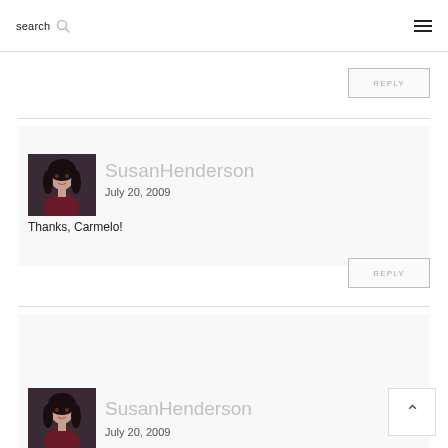search ☰
REPLY
[Figure (photo): Profile photo of SusanHenderson - woman with dark hair]
SusanHenderson
July 20, 2009
Thanks, Carmelo!
REPLY
[Figure (photo): Profile photo of SusanHenderson - woman with dark hair]
SusanHenderson
July 20, 2009